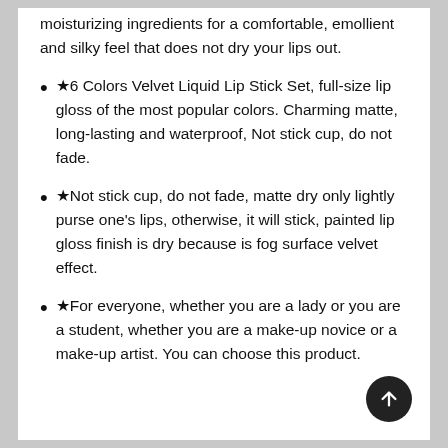moisturizing ingredients for a comfortable, emollient and silky feel that does not dry your lips out.
★6 Colors Velvet Liquid Lip Stick Set, full-size lip gloss of the most popular colors. Charming matte, long-lasting and waterproof, Not stick cup, do not fade.
★Not stick cup, do not fade, matte dry only lightly purse one's lips, otherwise, it will stick, painted lip gloss finish is dry because is fog surface velvet effect.
★For everyone, whether you are a lady or you are a student, whether you are a make-up novice or a make-up artist. You can choose this product.